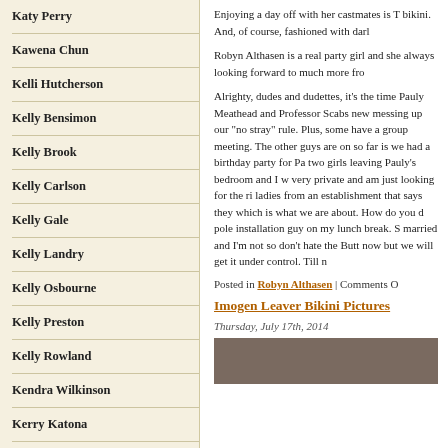Katy Perry
Kawena Chun
Kelli Hutcherson
Kelly Bensimon
Kelly Brook
Kelly Carlson
Kelly Gale
Kelly Landry
Kelly Osbourne
Kelly Preston
Kelly Rowland
Kendra Wilkinson
Kerry Katona
Kim Cattrall
Kim Kardashian
Enjoying a day off with her castmates is T bikini. And, of course, fashioned with darl
Robyn Althasen is a real party girl and she always looking forward to much more fro
Alrighty, dudes and dudettes, it’s the time Pauly Meathead and Professor Scabs new messing up our “no stray” rule. Plus, some have a group meeting. The other guys are on so far is we had a birthday party for Pa two girls leaving Pauly’s bedroom and I w very private and am just looking for the ri ladies from an establishment that says they which is what we are about. How do you d pole installation guy on my lunch break. S married and I’m not so don’t hate the Butt now but we will get it under control. Till n
Posted in Robyn Althasen | Comments O
Imogen Leaver Bikini Pictures
Thursday, July 17th, 2014
[Figure (photo): Photo of a person, partially visible at bottom of right column]